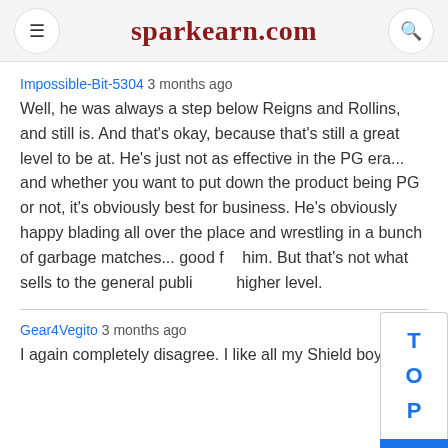sparkearn.com
Impossible-Bit-5304 3 months ago
Well, he was always a step below Reigns and Rollins, and still is. And that's okay, because that's still a great level to be at. He's just not as effective in the PG era... and whether you want to put down the product being PG or not, it's obviously best for business. He's obviously happy blading all over the place and wrestling in a bunch of garbage matches... good for him. But that's not what sells to the general public at a higher level.
Gear4Vegito 3 months ago
I again completely disagree. I like all my Shield boys